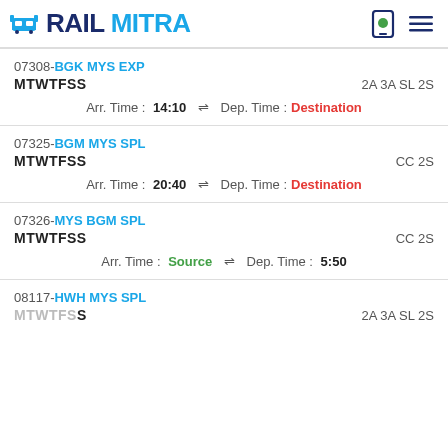RAILMITRA
07308-BGK MYS EXP | MTWTFSS | 2A 3A SL 2S | Arr. Time: 14:10 ⇌ Dep. Time: Destination
07325-BGM MYS SPL | MTWTFSS | CC 2S | Arr. Time: 20:40 ⇌ Dep. Time: Destination
07326-MYS BGM SPL | MTWTFSS | CC 2S | Arr. Time: Source ⇌ Dep. Time: 5:50
08117-HWH MYS SPL | MTWTFSS | 2A 3A SL 2S